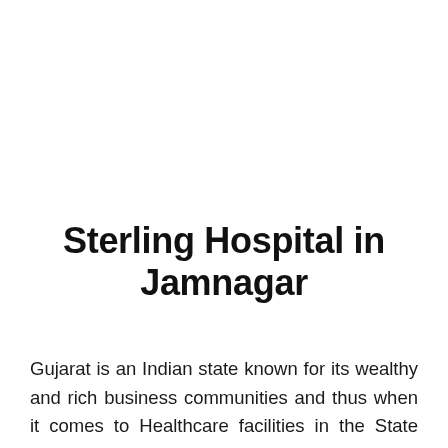Sterling Hospital in Jamnagar
Gujarat is an Indian state known for its wealthy and rich business communities and thus when it comes to Healthcare facilities in the State some big players or Corporate Hospital chains have made their way into the state equipped with all modern technologies and